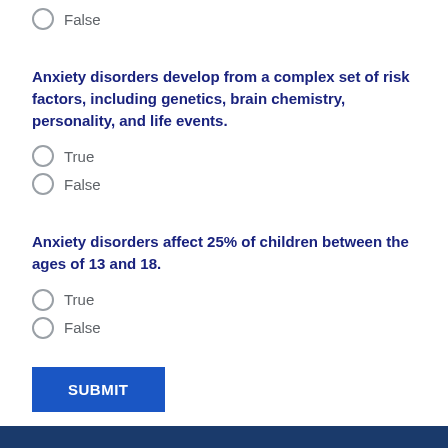False
Anxiety disorders develop from a complex set of risk factors, including genetics, brain chemistry, personality, and life events.
True
False
Anxiety disorders affect 25% of children between the ages of 13 and 18.
True
False